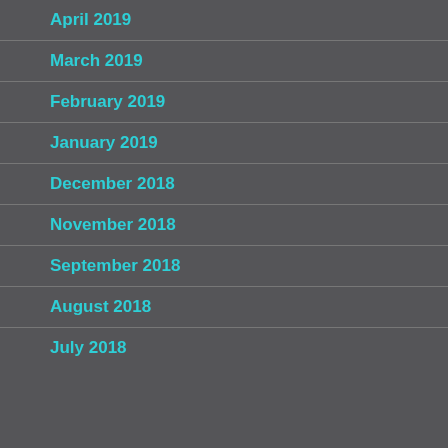April 2019
March 2019
February 2019
January 2019
December 2018
November 2018
September 2018
August 2018
July 2018